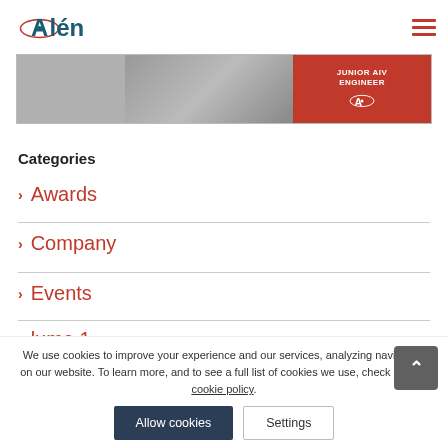Alén
[Figure (photo): Banner image showing a person working on electronics with text JUNIOR AIV ENGINEER on a red background with Alén logo]
Categories
Awards
Company
Events
lume 1 (partially visible)
We use cookies to improve your experience and our services, analyzing navigation on our website. To learn more, and to see a full list of cookies we use, check out our cookie policy.
Allow cookies  Settings